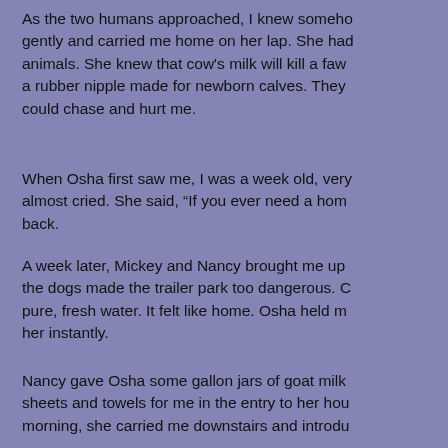As the two humans approached, I knew somehow gently and carried me home on her lap. She had animals. She knew that cow's milk will kill a fawn a rubber nipple made for newborn calves. They could chase and hurt me.
When Osha first saw me, I was a week old, very almost cried. She said, "If you ever need a home back.
A week later, Mickey and Nancy brought me up the dogs made the trailer park too dangerous. C pure, fresh water. It felt like home. Osha held me her instantly.
Nancy gave Osha some gallon jars of goat milk sheets and towels for me in the entry to her hou morning, she carried me downstairs and introdu.
Gopi was a golden retriever puppy with a sweet but Gopi and I became best friends and would s years later, when I'd become a very big deer, th and had seen a dog chasing a deer. A little way ideas about what gets to chase what but they ar